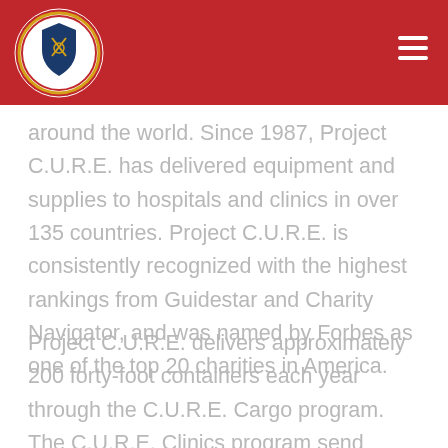[Figure (logo): Diplomatic Corps of Arizona circular badge/shield logo with red border on red header background]
around the world. Since 1987, Project C.U.R.E. has delivered equipment and supplies to hospitals and clinics in over 135 countries. Project C.U.R.E. is consistently recognized with the highest rankings from Guidestar and Charity Navigator, and was named by Forbes as one of the top 20 charities in America.
Project C.U.R.E. delivers approximately 200 forty-foot containers each year through the C.U.R.E. Cargo program. The C.U.R.E. Clinics program send teams of medical professionals to assist partner hospitals and clinics. Project